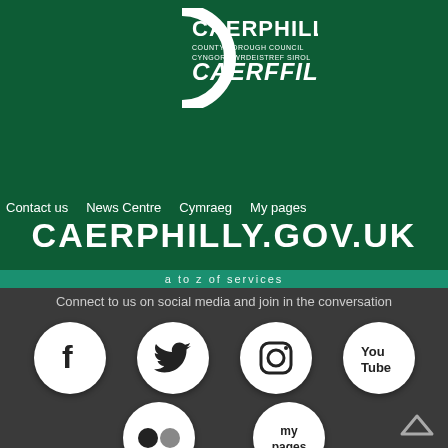[Figure (logo): Caerphilly County Borough Council / Cyngor Bwrdeistref Sirol Caerffili logo - white text and swoosh on dark green background]
Contact us  News Centre  Cymraeg  My pages
CAERPHILLY.GOV.UK
a to z of services
Connect to us on social media and join in the conversation
[Figure (infographic): Social media icons in white circles on dark grey background: Facebook, Twitter, Instagram, YouTube, Flickr, My Pages]
[Figure (other): Back to top chevron arrow]